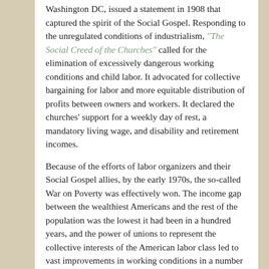Washington DC, issued a statement in 1908 that captured the spirit of the Social Gospel. Responding to the unregulated conditions of industrialism, “The Social Creed of the Churches” called for the elimination of excessively dangerous working conditions and child labor. It advocated for collective bargaining for labor and more equitable distribution of profits between owners and workers. It declared the churches’ support for a weekly day of rest, a mandatory living wage, and disability and retirement incomes.
Because of the efforts of labor organizers and their Social Gospel allies, by the early 1970s, the so-called War on Poverty was effectively won. The income gap between the wealthiest Americans and the rest of the population was the lowest it had been in a hundred years, and the power of unions to represent the collective interests of the American labor class led to vast improvements in working conditions in a number of industries. A half-century later, however, we have given back many of those hard-earned accomplishments. CEO compensation is roughly 250 times the average income of the working class. Historic protections like a livable income and